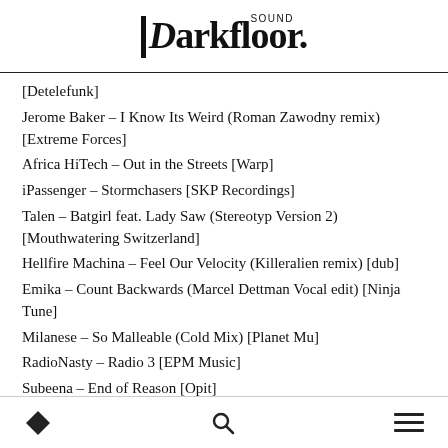Darkfloor Sound
[Detelefunk]
Jerome Baker – I Know Its Weird (Roman Zawodny remix) [Extreme Forces]
Africa HiTech – Out in the Streets [Warp]
iPassenger – Stormchasers [SKP Recordings]
Talen – Batgirl feat. Lady Saw (Stereotyp Version 2) [Mouthwatering Switzerland]
Hellfire Machina – Feel Our Velocity (Killeralien remix) [dub]
Emika – Count Backwards (Marcel Dettman Vocal edit) [Ninja Tune]
Milanese – So Malleable (Cold Mix) [Planet Mu]
RadioNasty – Radio 3 [EPM Music]
Subeena – End of Reason [Opit]
Point B – Asking Nicely [Bonus Round]
O... Fre... Yak [Sublo Recordings]
Navigation footer with diamond icon, search icon, and menu icon